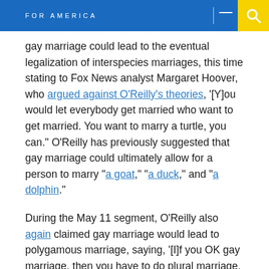FOR AMERICA
gay marriage could lead to the eventual legalization of interspecies marriages, this time stating to Fox News analyst Margaret Hoover, who argued against O'Reilly's theories, '[Y]ou would let everybody get married who want to get married. You want to marry a turtle, you can.' O'Reilly has previously suggested that gay marriage could ultimately allow for a person to marry 'a goat,' 'a duck,' and 'a dolphin.'
During the May 11 segment, O'Reilly also again claimed gay marriage would lead to polygamous marriage, saying, '[I]f you OK gay marriage, then you have to do plural marriage, which is now — has a name, triads. Three people getting married.'
From the May 11 edition of Fox News' The O'Reilly Factor: